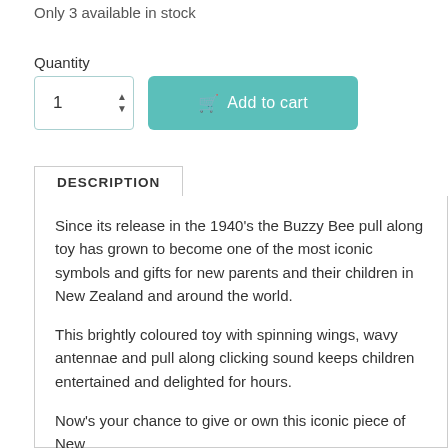Only 3 available in stock
Quantity
Add to cart
DESCRIPTION
Since its release in the 1940's the Buzzy Bee pull along toy has grown to become one of the most iconic symbols and gifts for new parents and their children in New Zealand and around the world.
This brightly coloured toy with spinning wings, wavy antennae and pull along clicking sound keeps children entertained and delighted for hours.
Now's your chance to give or own this iconic piece of New